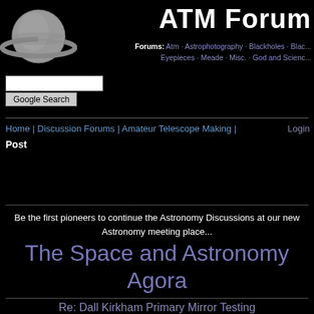[Figure (illustration): Grayscale illustration of Saturn with ring system on black background]
ATM Forum
Forums: Atm · Astrophotography · Blackholes · Blac... Eyepieces · Meade · Misc. · God and Scienc...
[Figure (other): Search input text field]
Google Search
Home | Discussion Forums | Amateur Telescope Making | Post  Login
Be the first pioneers to continue the Astronomy Discussions at our new Astronomy meeting place...
The Space and Astronomy Agora
Re: Dall Kirkham Primary Mirror Testing